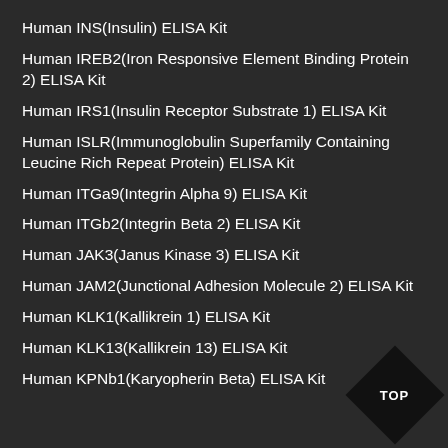Human INS(Insulin) ELISA Kit
Human IREB2(Iron Responsive Element Binding Protein 2) ELISA Kit
Human IRS1(Insulin Receptor Substrate 1) ELISA Kit
Human ISLR(Immunoglobulin Superfamily Containing Leucine Rich Repeat Protein) ELISA Kit
Human ITGa9(Integrin Alpha 9) ELISA Kit
Human ITGb2(Integrin Beta 2) ELISA Kit
Human JAK3(Janus Kinase 3) ELISA Kit
Human JAM2(Junctional Adhesion Molecule 2) ELISA Kit
Human KLK1(Kallikrein 1) ELISA Kit
Human KLK13(Kallikrein 13) ELISA Kit
Human KPNb1(Karyopherin Beta) ELISA Kit